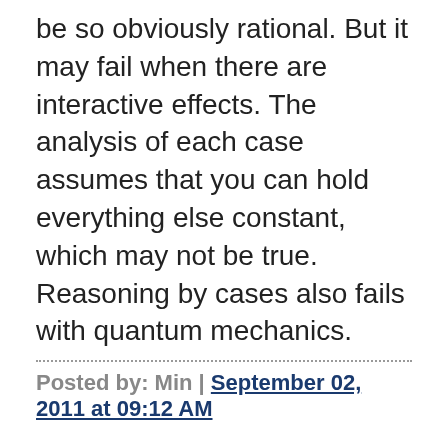be so obviously rational. But it may fail when there are interactive effects. The analysis of each case assumes that you can hold everything else constant, which may not be true. Reasoning by cases also fails with quantum mechanics.
Posted by: Min | September 02, 2011 at 09:12 AM
Pete Lunn sent these thoughtful comments via email:
An additional thought for you:
Nudge is a decent attempt at a